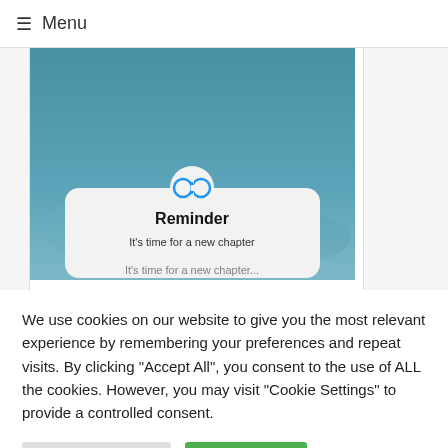☰ Menu
[Figure (screenshot): Screenshot of a mobile app or website showing a card with a blue background, an infinity/loop icon at the top, bold text 'Reminder', and partial text 'It's time for a new chapter']
We use cookies on our website to give you the most relevant experience by remembering your preferences and repeat visits. By clicking "Accept All", you consent to the use of ALL the cookies. However, you may visit "Cookie Settings" to provide a controlled consent.
Cookie Settings
Accept All